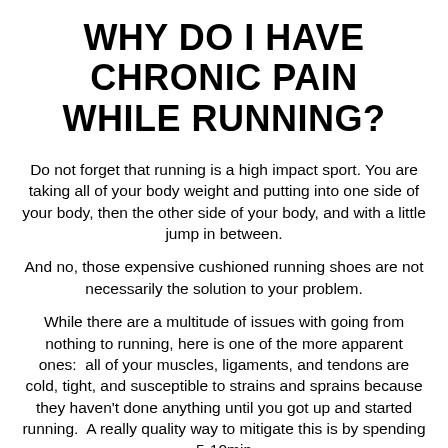WHY DO I HAVE CHRONIC PAIN WHILE RUNNING?
Do not forget that running is a high impact sport. You are taking all of your body weight and putting into one side of your body, then the other side of your body, and with a little jump in between.
And no, those expensive cushioned running shoes are not necessarily the solution to your problem.
While there are a multitude of issues with going from nothing to running, here is one of the more apparent ones:  all of your muscles, ligaments, and tendons are cold, tight, and susceptible to strains and sprains because they haven't done anything until you got up and started running.  A really quality way to mitigate this is by spending 5-10min